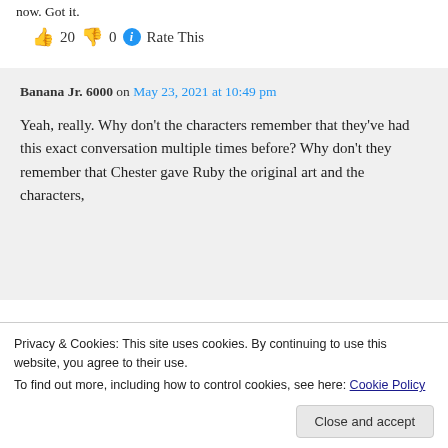now. Got it.
👍 20 👎 0 ℹ Rate This
Banana Jr. 6000 on May 23, 2021 at 10:49 pm
Yeah, really. Why don't the characters remember that they've had this exact conversation multiple times before? Why don't they remember that Chester gave Ruby the original art and the characters,
Privacy & Cookies: This site uses cookies. By continuing to use this website, you agree to their use.
To find out more, including how to control cookies, see here: Cookie Policy
Close and accept